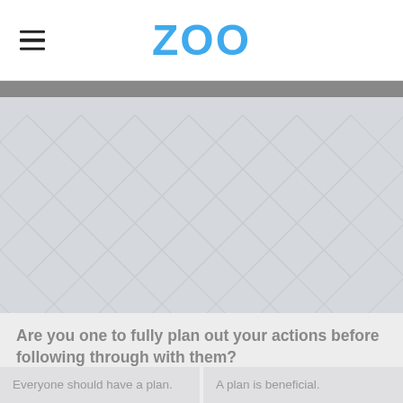ZOO
[Figure (photo): Hero image placeholder with light gray background and diagonal chevron/herringbone pattern in slightly darker gray]
Are you one to fully plan out your actions before following through with them?
Everyone should have a plan.
A plan is beneficial.